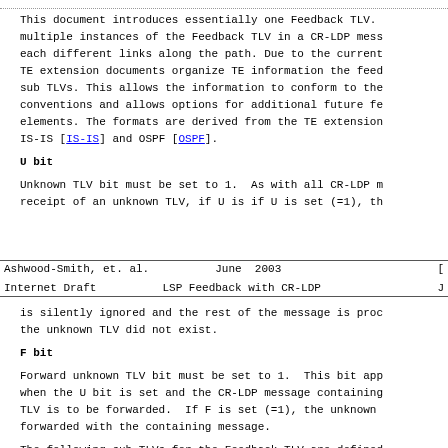This document introduces essentially one Feedback TLV. multiple instances of the Feedback TLV in a CR-LDP mess each different links along the path. Due to the current TE extension documents organize TE information the feed sub TLVs. This allows the information to conform to the conventions and allows options for additional future fe elements. The formats are derived from the TE extension IS-IS [IS-IS] and OSPF [OSPF].
U bit
Unknown TLV bit must be set to 1.  As with all CR-LDP m receipt of an unknown TLV, if U is if U is set (=1), th
Ashwood-Smith, et. al.          June  2003                                    [
Internet Draft          LSP Feedback with CR-LDP                              J
is silently ignored and the rest of the message is proc the unknown TLV did not exist.
F bit
Forward unknown TLV bit must be set to 1.  This bit app when the U bit is set and the CR-LDP message containing TLV is to be forwarded.  If F is set (=1), the unknown forwarded with the containing message.
The following sub TLVs for the Feedback TLV are defined